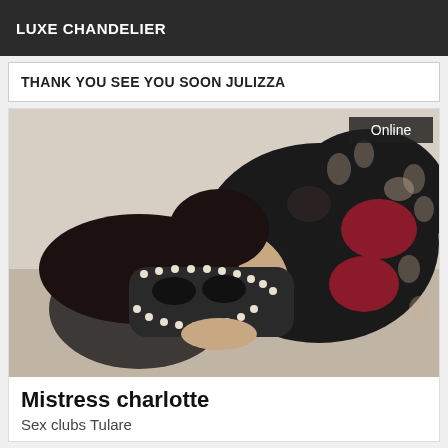LUXE CHANDELIER
THANK YOU SEE YOU SOON JULIZZA
[Figure (photo): A person wearing a black studded masquerade mask and a black and red fishnet bodysuit, photographed from above at an angle. An 'Online' badge appears in the top right corner of the image.]
Mistress charlotte
Sex clubs Tulare